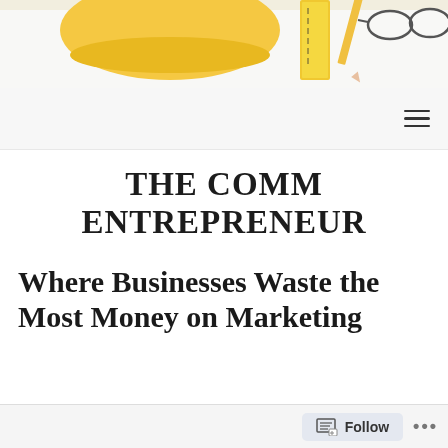[Figure (photo): Header photo showing a yellow hard hat/bowl, ruler, pencil, and glasses on a white surface, shot from above]
THE COMM ENTREPRENEUR
Where Businesses Waste the Most Money on Marketing
Posted on September 6, 2021
Follow